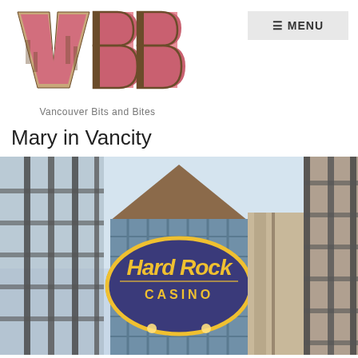[Figure (logo): VBB - Vancouver Bits and Bites logo with pink and brown block letters showing cityscape]
[Figure (other): Menu button with hamburger icon]
Mary in Vancity
[Figure (photo): Exterior photo of Hard Rock Casino building, looking up at the facade with the Hard Rock Casino sign visible on a blue/purple circular background with yellow text, steel grid structure visible on either side]